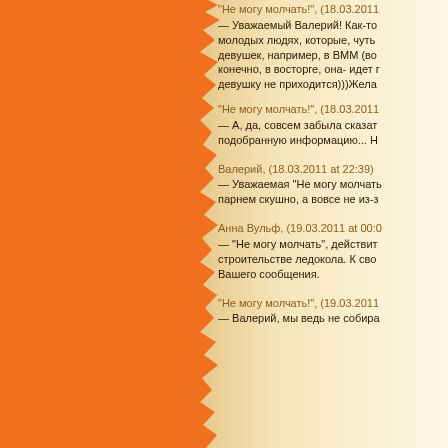"Не могу молчать!", (18.03.2011
— Уважаемый Валерий! Как-то молодых людях, которые, чуть девушек, например, в ВММ (во конечно, в восторге, она- идет г девушку не приходится)))Жела
"Не могу молчать!", (18.03.2011
— А, да, совсем забыла сказат подобранную информацию... Н
Валерий, (18.03.2011 at 22:39)
— Уважаемая "Не могу молчать парнем скушно, а вовсе не из-з
Анна Вульф, (19.03.2011 at 00:0
— "Не могу молчать", действит строительстве ледокола. К сво Вашего сообщения.
"Не могу молчать!", (19.03.2011
— Валерий, мы ведь не собира